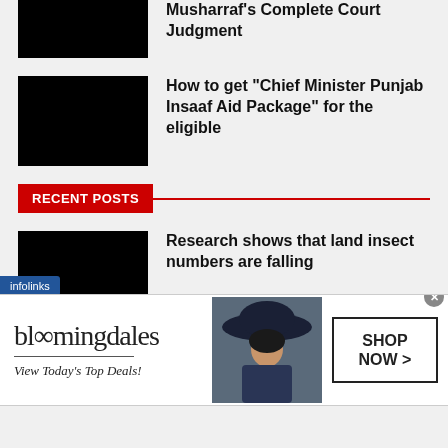Musharraf's Complete Court Judgment
How to get “Chief Minister Punjab Insaaf Aid Package” for the eligible
RECENT POSTS
Research shows that land insect numbers are falling
Biography of Dr Yasmin Rashid
[Figure (screenshot): Bloomingdales advertisement with model wearing a hat, shop now button]
infolinks